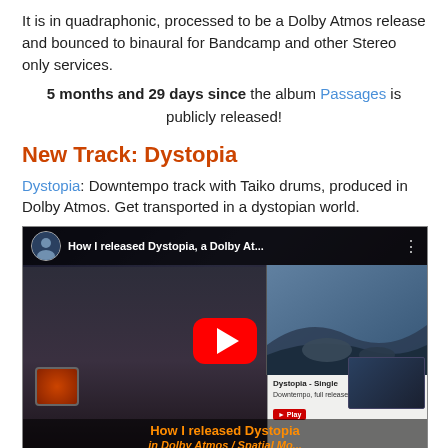It is in quadraphonic, processed to be a Dolby Atmos release and bounced to binaural for Bandcamp and other Stereo only services.
5 months and 29 days since the album Passages is publicly released!
New Track: Dystopia
Dystopia: Downtempo track with Taiko drums, produced in Dolby Atmos. Get transported in a dystopian world.
[Figure (screenshot): YouTube video thumbnail showing a man with long hair and glasses in a dark home studio, with title 'How I released Dystopia, a Dolby Atmos...' and a YouTube play button. Bottom text overlay reads 'How I released Dystopia in Dolby Atmos / Spatial Mo...' in orange. Right side shows album art and info for Dystopia - Single.]